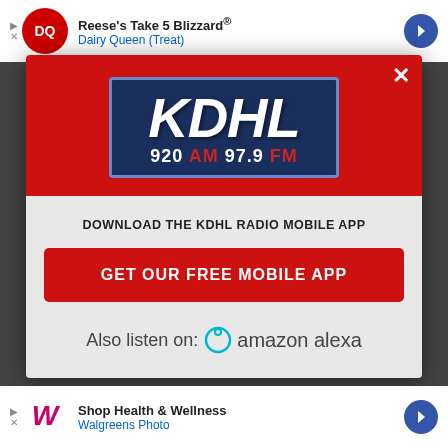[Figure (screenshot): Top advertisement banner: Dairy Queen ad showing Reese's Take 5 Blizzard with DQ logo and navigation arrow]
[Figure (logo): KDHL Radio logo on red background inside modal dialog. Shows KDHL in large white italic letters with '920 AM 97.9 FM' below in white and red text, on dark blue background with blue border.]
DOWNLOAD THE KDHL RADIO MOBILE APP
GET OUR FREE MOBILE APP
Also listen on:  amazon alexa
[Figure (screenshot): Bottom advertisement banner: Walgreens Photo ad showing 'Shop Health & Wellness' with Walgreens W logo and navigation arrow]